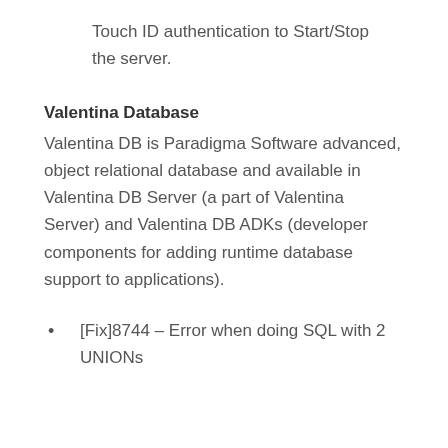Touch ID authentication to Start/Stop the server.
Valentina Database
Valentina DB is Paradigma Software advanced, object relational database and available in Valentina DB Server (a part of Valentina Server) and Valentina DB ADKs (developer components for adding runtime database support to applications).
[Fix]8744 – Error when doing SQL with 2 UNIONs